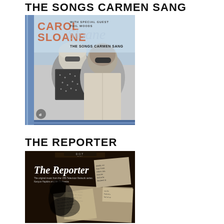THE SONGS CARMEN SANG
[Figure (photo): Album cover for Carol Sloane 'The Songs Carmen Sang' featuring Carol Sloane with special guest Phil Woods. Black and white photo of two people wearing sunglasses.]
THE REPORTER
[Figure (photo): Album cover for 'The Reporter' - The original music from the CBS Television Network series by Kenyon Hopkins and his Orchestra. Dark cover with newspaper clippings and shadowy figure.]